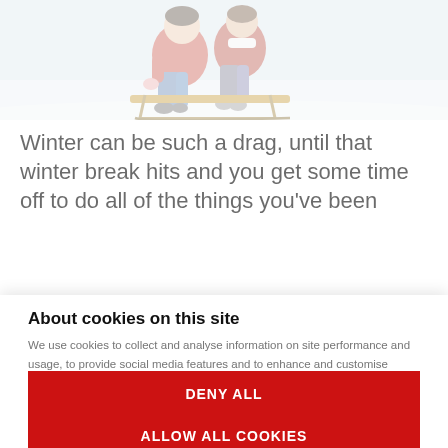[Figure (photo): Photo of people sledding in winter, showing two people on a wooden sled with winter clothing (red jackets, jeans, boots).]
Winter can be such a drag, until that winter break hits and you get some time off to do all of the things you’ve been
About cookies on this site
We use cookies to collect and analyse information on site performance and usage, to provide social media features and to enhance and customise content and advertisements. Learn more
Cookie settings
DENY ALL
ALLOW ALL COOKIES